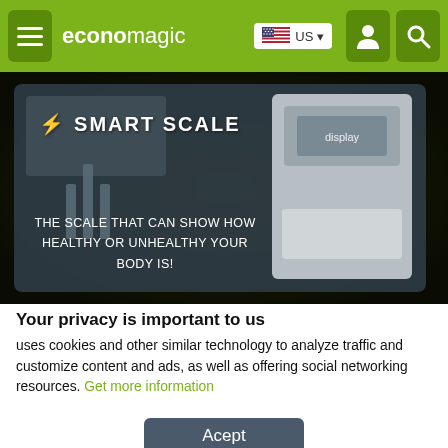economagic — navigation bar with menu, logo, US flag, user icon, search icon
[Figure (screenshot): Smart Scale product hero image with text: SMART SCALE and THE SCALE THAT CAN SHOW HOW HEALTHY OR UNHEALTHY YOUR BODY IS!]
Your privacy is important to us
uses cookies and other similar technology to analyze traffic and customize content and ads, as well as offering social networking resources. Get more information
Acept